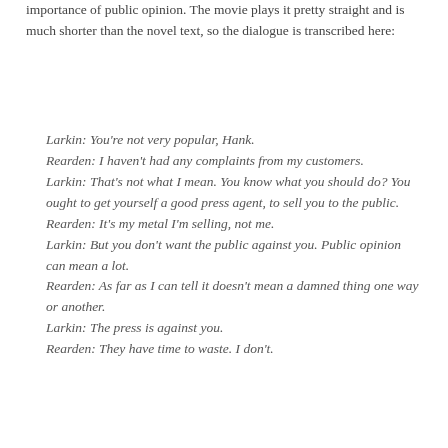importance of public opinion. The movie plays it pretty straight and is much shorter than the novel text, so the dialogue is transcribed here:
Larkin: You're not very popular, Hank.
Rearden: I haven't had any complaints from my customers.
Larkin: That's not what I mean. You know what you should do? You ought to get yourself a good press agent, to sell you to the public.
Rearden: It's my metal I'm selling, not me.
Larkin: But you don't want the public against you. Public opinion can mean a lot.
Rearden: As far as I can tell it doesn't mean a damned thing one way or another.
Larkin: The press is against you.
Rearden: They have time to waste. I don't.